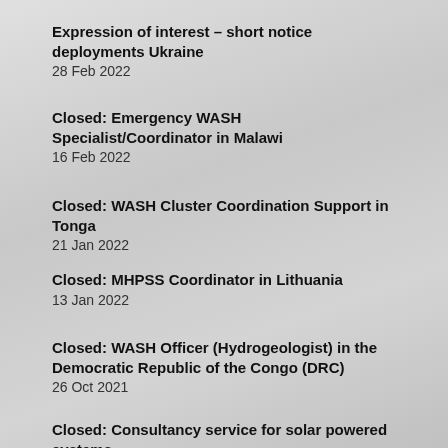Expression of interest – short notice deployments Ukraine
28 Feb 2022
Closed: Emergency WASH Specialist/Coordinator in Malawi
16 Feb 2022
Closed: WASH Cluster Coordination Support in Tonga
21 Jan 2022
Closed: MHPSS Coordinator in Lithuania
13 Jan 2022
Closed: WASH Officer (Hydrogeologist) in the Democratic Republic of the Congo (DRC)
26 Oct 2021
Closed: Consultancy service for solar powered systems